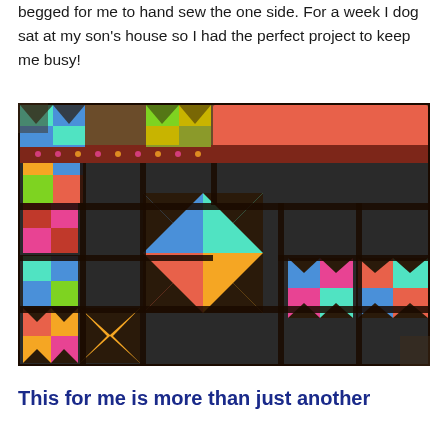begged for me to hand sew the one side. For a week I dog sat at my son's house so I had the perfect project to keep me busy!
[Figure (photo): A colorful patchwork quilt with geometric pinwheel and triangle patterns in bright colors including orange, blue, pink, teal, and green with black sashing, displayed outdoors on the ground showing both the quilt top and a coral/salmon colored backing.]
This for me is more than just another